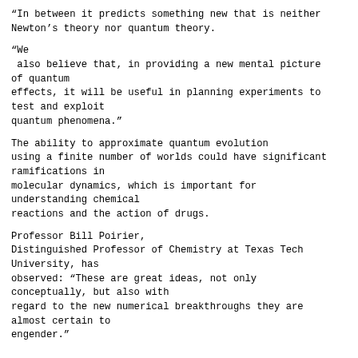“In between it predicts something new that is neither Newton’s theory nor quantum theory.
“We also believe that, in providing a new mental picture of quantum effects, it will be useful in planning experiments to test and exploit quantum phenomena.”
The ability to approximate quantum evolution using a finite number of worlds could have significant ramifications in molecular dynamics, which is important for understanding chemical reactions and the action of drugs.
Professor Bill Poirier, Distinguished Professor of Chemistry at Texas Tech University, has observed: “These are great ideas, not only conceptually, but also with regard to the new numerical breakthroughs they are almost certain to engender.”
Publication: Michael J.W. Hall, et al., “Quantum Phenomena Modeled by Interactions between Many Classical Worlds,” Phys.